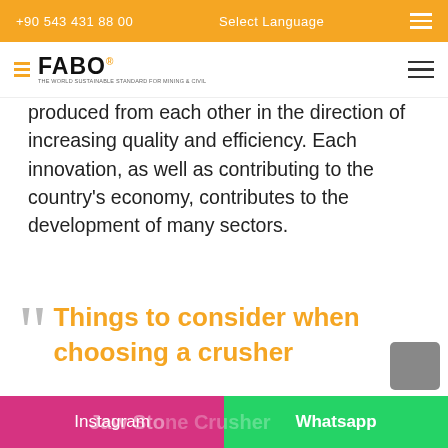+90 543 431 88 00   Select Language
[Figure (logo): FABO company logo with orange icon stripes and bold text]
produced from each other in the direction of increasing quality and efficiency. Each innovation, as well as contributing to the country's economy, contributes to the development of many sectors.
Things to consider when choosing a crusher
Instagram   Whatsapp